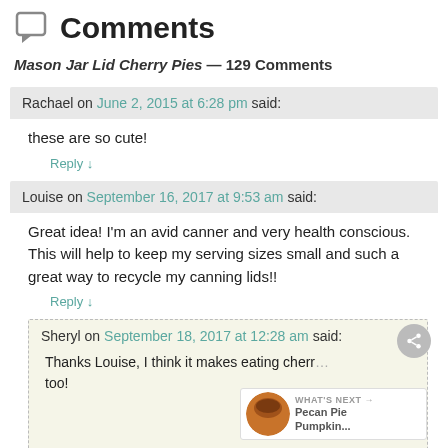Comments
Mason Jar Lid Cherry Pies — 129 Comments
Rachael on June 2, 2015 at 6:28 pm said:
these are so cute!
Reply ↓
Louise on September 16, 2017 at 9:53 am said:
Great idea! I'm an avid canner and very health conscious. This will help to keep my serving sizes small and such a great way to recycle my canning lids!!
Reply ↓
Sheryl on September 18, 2017 at 12:28 am said:
Thanks Louise, I think it makes eating cherr... too!
Reply ↓